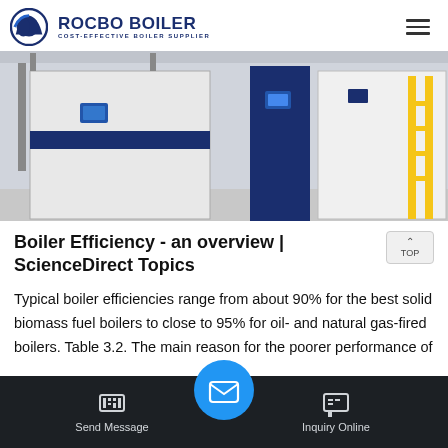ROCBO BOILER — COST-EFFECTIVE BOILER SUPPLIER
[Figure (photo): Industrial boilers in a facility: large white and dark navy blue boiler units side by side, with a yellow ladder/scaffold visible on the right side]
Boiler Efficiency - an overview | ScienceDirect Topics
Typical boiler efficiencies range from about 90% for the best solid biomass fuel boilers to close to 95% for oil- and natural gas-fired boilers. Table 3.2. The main reason for the poorer performance of ...
Send Message | Inquiry Online